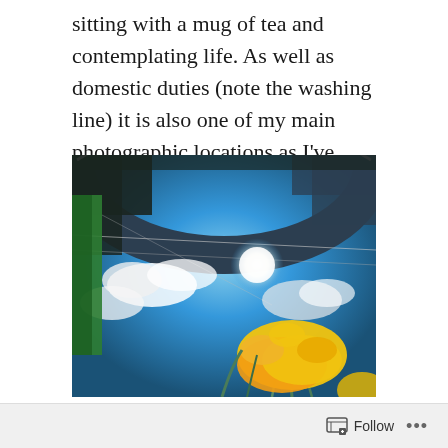sitting with a mug of tea and contemplating life. As well as domestic duties (note the washing line) it is also one of my main photographic locations as I've noted many times in my blog over the years.
[Figure (photo): Wide-angle upward photograph showing a stone arch/building framing a bright blue sky with white clouds and a daffodil flower in the lower right, with a person's jacket visible on the left edge.]